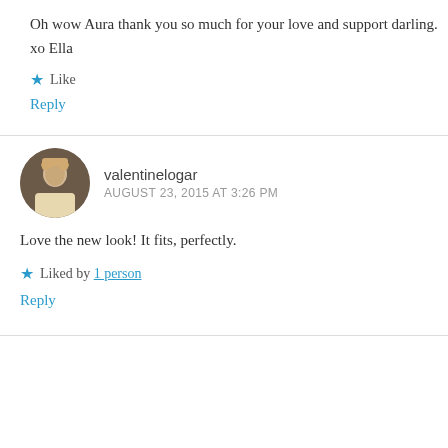Oh wow Aura thank you so much for your love and support darling. xo Ella
★ Like
Reply
valentinelogar
AUGUST 23, 2015 AT 3:26 PM
Love the new look! It fits, perfectly.
★ Liked by 1 person
Reply